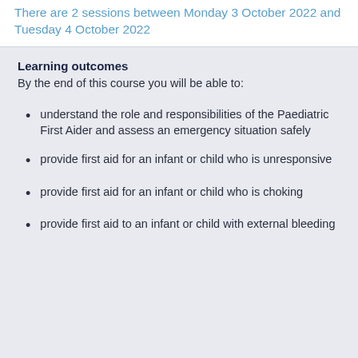There are 2 sessions between Monday 3 October 2022 and Tuesday 4 October 2022
Learning outcomes
By the end of this course you will be able to:
understand the role and responsibilities of the Paediatric First Aider and assess an emergency situation safely
provide first aid for an infant or child who is unresponsive
provide first aid for an infant or child who is choking
provide first aid to an infant or child with external bleeding